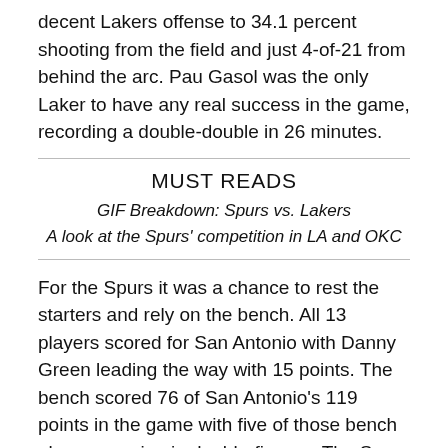decent Lakers offense to 34.1 percent shooting from the field and just 4-of-21 from behind the arc. Pau Gasol was the only Laker to have any real success in the game, recording a double-double in 26 minutes.
MUST READS
GIF Breakdown: Spurs vs. Lakers
A look at the Spurs' competition in LA and OKC
For the Spurs it was a chance to rest the starters and rely on the bench. All 13 players scored for San Antonio with Danny Green leading the way with 15 points. The bench scored 76 of San Antonio's 119 points in the game with five of those bench players scoring in double-figures. The Spurs also owned the glass, outrebounding Los Angeles 64-37, including an 18-8 edge on the offensive glass.